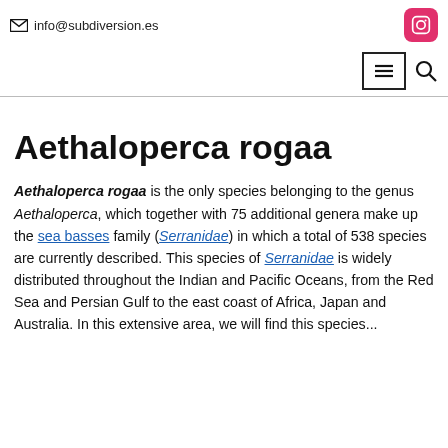info@subdiversion.es
Aethaloperca rogaa
Aethaloperca rogaa is the only species belonging to the genus Aethaloperca, which together with 75 additional genera make up the sea basses family (Serranidae) in which a total of 538 species are currently described. This species of Serranidae is widely distributed throughout the Indian and Pacific Oceans, from the Red Sea and Persian Gulf to the east coast of Africa, Japan and Australia. In this extensive area, we will find this species...